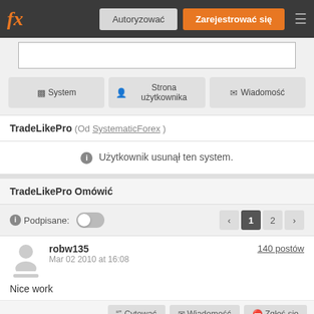fx  Autoryzować  Zarejestrować się
[Figure (screenshot): Search input box area]
System  Strona użytkownika  Wiadomość
TradeLikePro (Od SystematicForex)
Użytkownik usunął ten system.
TradeLikePro Omówić
Podpisane:
robw135
Mar 02 2010 at 16:08
140 postów
Nice work
Cytować  Wiadomość  Zgłoś się